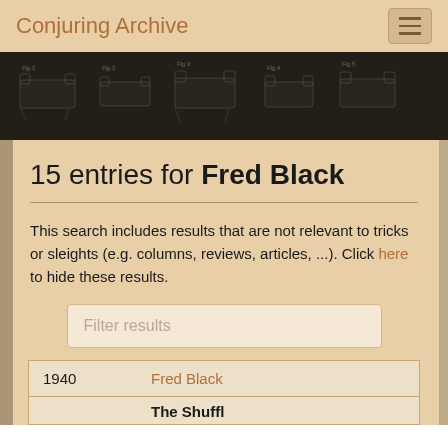Conjuring Archive
[Figure (illustration): Dark banner with faint schematic/technical drawing pattern of furniture-like objects on dark background]
15 entries for Fred Black
This search includes results that are not relevant to tricks or sleights (e.g. columns, reviews, articles, ...). Click here to hide these results.
| Year | Name |
| --- | --- |
| 1940 | Fred Black |
|  | The Shuffle... |